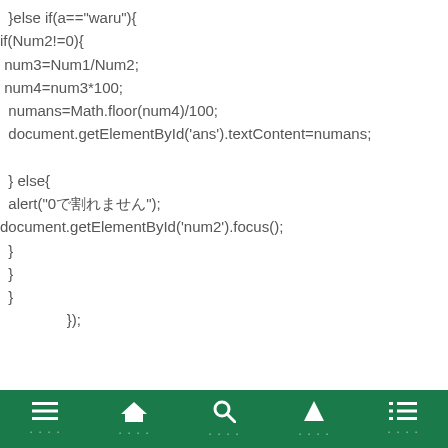}else if(a=="waru"){
if(Num2!=0){
 num3=Num1/Num2;
 num4=num3*100;
  numans=Math.floor(num4)/100;
  document.getElementById('ans').textContent=numans;

  } else{
  alert("0で割れません");
document.getElementById('num2').focus();
  }
  }
  }
                });
nav bar with menu, home, search, up, list icons